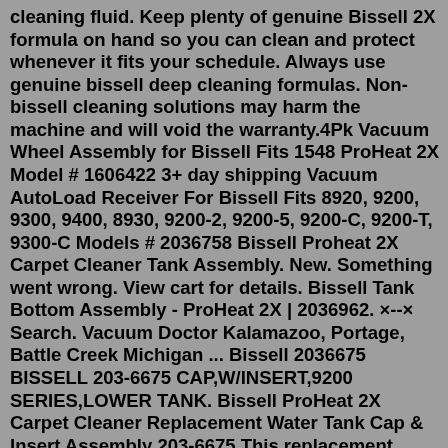cleaning fluid. Keep plenty of genuine Bissell 2X formula on hand so you can clean and protect whenever it fits your schedule. Always use genuine bissell deep cleaning formulas. Non-bissell cleaning solutions may harm the machine and will void the warranty.4Pk Vacuum Wheel Assembly for Bissell Fits 1548 ProHeat 2X Model # 1606422 3+ day shipping Vacuum AutoLoad Receiver For Bissell Fits 8920, 9200, 9300, 9400, 8930, 9200-2, 9200-5, 9200-C, 9200-T, 9300-C Models # 2036758 Bissell Proheat 2X Carpet Cleaner Tank Assembly. New. Something went wrong. View cart for details. Bissell Tank Bottom Assembly - ProHeat 2X | 2036962. ×--× Search. Vacuum Doctor Kalamazoo, Portage, Battle Creek Michigan ... Bissell 2036675 BISSELL 203-6675 CAP,W/INSERT,9200 SERIES,LOWER TANK. Bissell ProHeat 2X Carpet Cleaner Replacement Water Tank Cap & Insert Assembly 203-6675 This replacement carpet cleaner water tank cap and insert is designed to fit Bissell carpet cleaners. Bissell Proheat 2X Carpet Cleaner Tank Assembly. New.